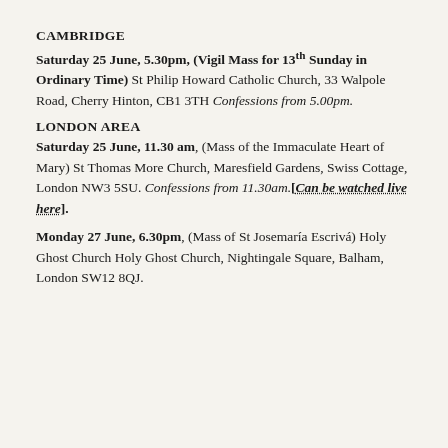CAMBRIDGE
Saturday 25 June, 5.30pm, (Vigil Mass for 13th Sunday in Ordinary Time) St Philip Howard Catholic Church, 33 Walpole Road, Cherry Hinton, CB1 3TH Confessions from 5.00pm.
LONDON AREA
Saturday 25 June, 11.30 am, (Mass of the Immaculate Heart of Mary) St Thomas More Church, Maresfield Gardens, Swiss Cottage, London NW3 5SU. Confessions from 11.30am.[Can be watched live here].
Monday 27 June, 6.30pm, (Mass of St Josemaría Escrivá) Holy Ghost Church Holy Ghost Church, Nightingale Square, Balham, London SW12 8QJ.